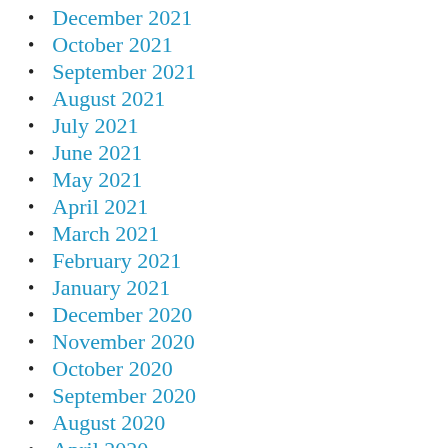December 2021
October 2021
September 2021
August 2021
July 2021
June 2021
May 2021
April 2021
March 2021
February 2021
January 2021
December 2020
November 2020
October 2020
September 2020
August 2020
April 2020